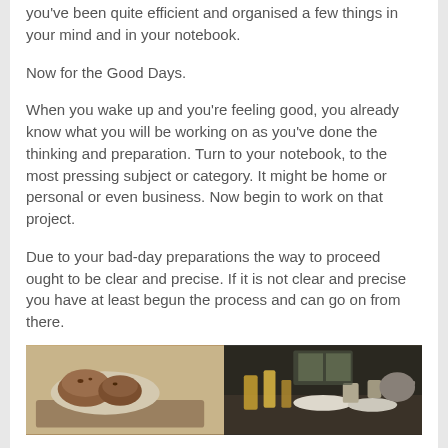you've been quite efficient and organised a few things in your mind and in your notebook.
Now for the Good Days.
When you wake up and you're feeling good, you already know what you will be working on as you've done the thinking and preparation. Turn to your notebook, to the most pressing subject or category. It might be home or personal or even business. Now begin to work on that project.
Due to your bad-day preparations the way to proceed ought to be clear and precise. If it is not clear and precise you have at least begun the process and can go on from there.
[Figure (photo): Two side-by-side food photos: left shows baked goods/pastries on a plate with a baking tray; right shows a table set with drinks and dishes]